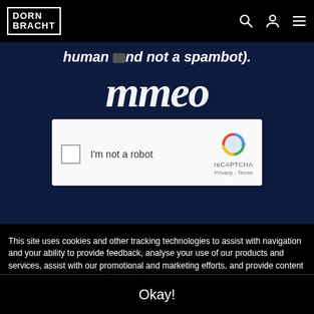DORN BRACHT
[Figure (screenshot): reCAPTCHA widget with checkbox labeled 'I'm not a robot', reCAPTCHA logo and Privacy/Terms links on dark blue background with partial text visible]
This site uses cookies and other tracking technologies to assist with navigation and your ability to provide feedback, analyse your use of our products and services, assist with our promotional and marketing efforts, and provide content from third parties. If you continue on the site, you agree to the use of cookies. Cookies and privacy statement
Okay!